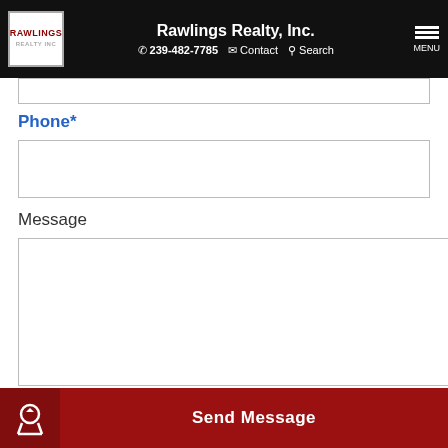Rawlings Realty, Inc. | 239-482-7785 | Contact | Search | MENU
Phone*
Message
[Figure (screenshot): reCAPTCHA widget with checkbox labeled 'I'm not a robot']
Send Message